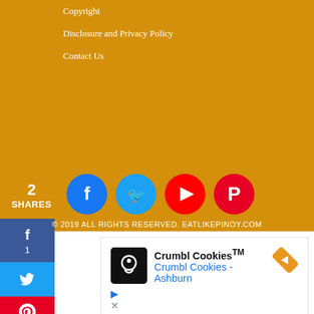Copyright
Disclosure and Privacy Policy
Contact Us
[Figure (infographic): Social media icons: Facebook (blue circle), Twitter (cyan circle), YouTube (red circle), Pinterest (red circle). Share count showing 2 SHARES. Left sidebar showing Facebook share count 1, Twitter share, Pinterest share count 1.]
© 2019 ALL RIGHTS RESERVED. EATLIKEPINOY.COM
[Figure (screenshot): Advertisement for Crumbl Cookies showing logo icon, text 'Crumbl Cookies™', subtitle 'Crumbl Cookies - Ashburn', orange navigation arrow icon, play and close buttons.]